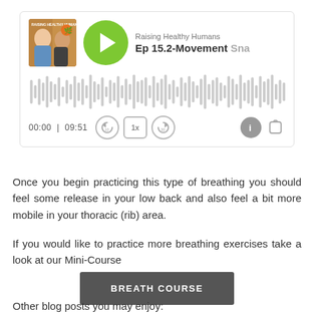[Figure (screenshot): Podcast player widget for 'Raising Healthy Humans' showing episode 'Ep 15.2-Movement Sna', with audio waveform, time 00:00 / 09:51, playback controls including 10-second back, 1x speed, 30-second forward, info and share buttons]
Once you begin practicing this type of breathing you should feel some release in your low back and also feel a bit more mobile in your thoracic (rib) area.
If you would like to practice more breathing exercises take a look at our Mini-Course
BREATH COURSE
Other blog posts you may enjoy: